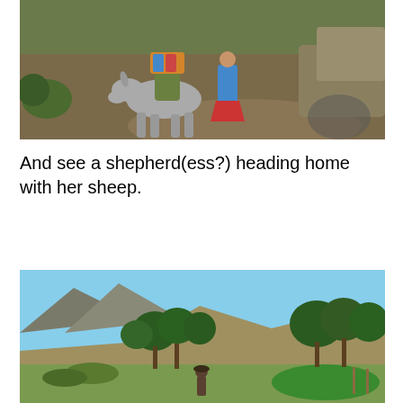[Figure (photo): Outdoor photograph showing people with a donkey on a dirt trail in a mountainous landscape. One person appears to be riding or leading the donkey, wearing colorful traditional clothing. Rocky terrain and some vegetation visible in the background.]
And see a shepherd(ess?) heading home with her sheep.
[Figure (photo): Outdoor landscape photograph showing rolling hills with trees, shrubs, and a figure in the distance walking through a valley. Clear blue sky visible above. Green fields and rocky hillsides in the background.]